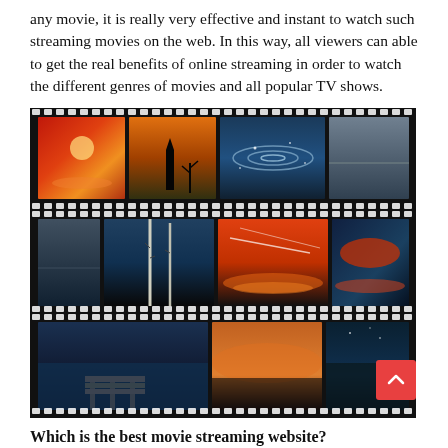any movie, it is really very effective and instant to watch such streaming movies on the web. In this way, all viewers can able to get the real benefits of online streaming in order to watch the different genres of movies and all popular TV shows.
[Figure (photo): A film strip collage of landscape and sunset photography images arranged in three rows, styled as movie film strips with sprocket holes along top and bottom edges.]
Which is the best movie streaming website?